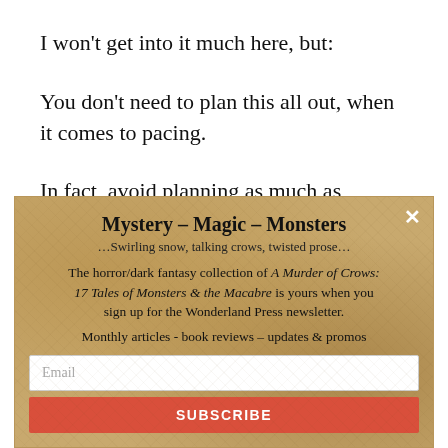I won't get into it much here, but:
You don't need to plan this all out, when it comes to pacing.
In fact, avoid planning as much as possible. Give your
Mystery – Magic – Monsters
…Swirling snow, talking crows, twisted prose…
The horror/dark fantasy collection of A Murder of Crows: 17 Tales of Monsters & the Macabre is yours when you sign up for the Wonderland Press newsletter.
Monthly articles - book reviews – updates & promos
Email
SUBSCRIBE